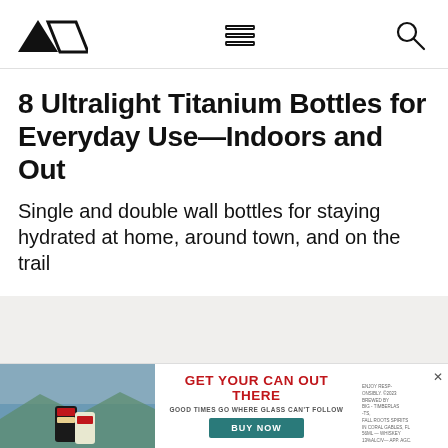Navigation header with logo, hamburger menu, and search icon
8 Ultralight Titanium Bottles for Everyday Use—Indoors and Out
Single and double wall bottles for staying hydrated at home, around town, and on the trail
[Figure (other): Light gray placeholder rectangle for article hero image]
[Figure (other): Advertisement banner: GET YOUR CAN OUT THERE - GOOD TIMES GO WHERE GLASS CAN'T FOLLOW - BUY NOW button]